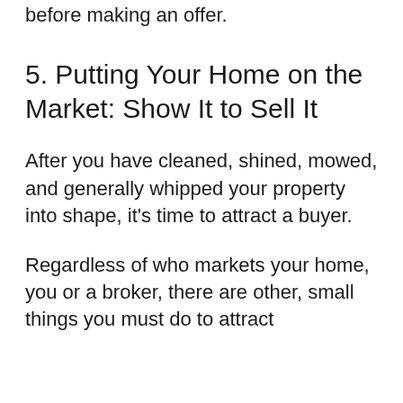before making an offer.
5. Putting Your Home on the Market: Show It to Sell It
After you have cleaned, shined, mowed, and generally whipped your property into shape, it's time to attract a buyer.
Regardless of who markets your home, you or a broker, there are other, small things you must do to attract